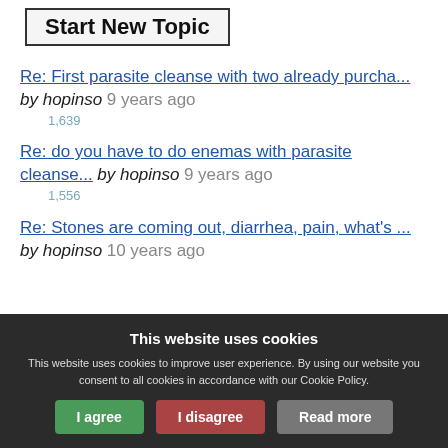Start New Topic
Re: First parasite cleanse with two already purcha... by hopinso 9 years ago 1,639
Re: do you have to do enemas with parasite cleanse... by hopinso 9 years ago 1,556
Re: Stones are coming out, diarrhea, pain, what's ... by hopinso 10 years ago
This website uses cookies
This website uses cookies to improve user experience. By using our website you consent to all cookies in accordance with our Cookie Policy.
I agree | I disagree | Read more